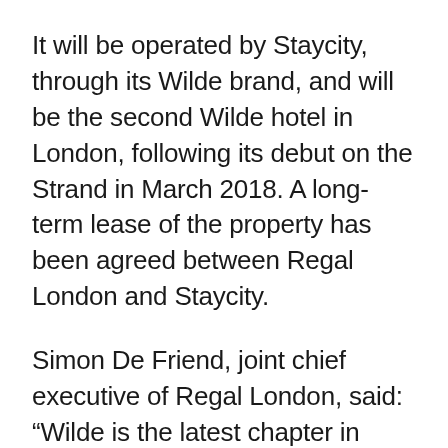It will be operated by Staycity, through its Wilde brand, and will be the second Wilde hotel in London, following its debut on the Strand in March 2018. A long-term lease of the property has been agreed between Regal London and Staycity.
Simon De Friend, joint chief executive of Regal London, said: “Wilde is the latest chapter in Whitechapel’s transformation, and as Regal London’s first purely leisure project it signals a milestone in the company’s strategy to